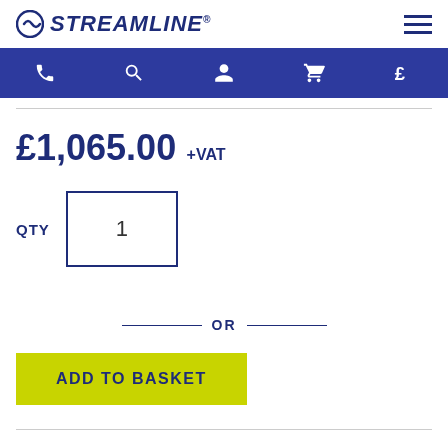STREAMLINE
[Figure (screenshot): Navigation bar with phone, search, user, cart, and pound sign icons on dark blue background]
£1,065.00 +VAT
QTY 1
— OR —
ADD TO BASKET